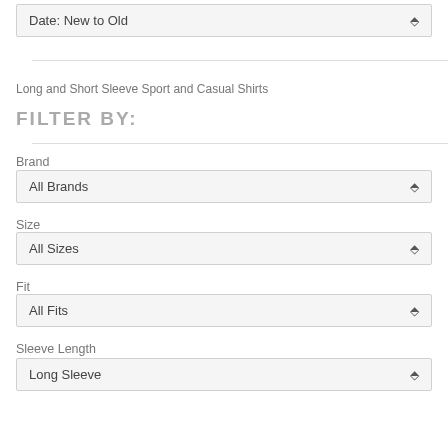Date: New to Old
Long and Short Sleeve Sport and Casual Shirts
FILTER BY:
Brand
All Brands
Size
All Sizes
Fit
All Fits
Sleeve Length
Long Sleeve